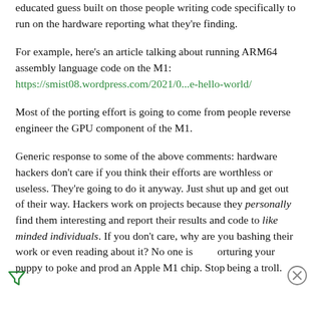educated guess built on those people writing code specifically to run on the hardware reporting what they're finding.
For example, here's an article talking about running ARM64 assembly language code on the M1: https://smist08.wordpress.com/2021/0...e-hello-world/
Most of the porting effort is going to come from people reverse engineer the GPU component of the M1.
Generic response to some of the above comments: hardware hackers don't care if you think their efforts are worthless or useless. They're going to do it anyway. Just shut up and get out of their way. Hackers work on projects because they personally find them interesting and report their results and code to like minded individuals. If you don't care, why are you bashing their work or even reading about it? No one is torturing your puppy to poke and prod an Apple M1 chip. Stop being a troll.